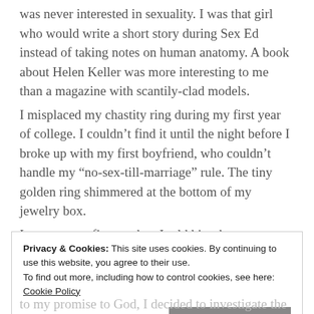was never interested in sexuality. I was that girl who would write a short story during Sex Ed instead of taking notes on human anatomy. A book about Helen Keller was more interesting to me than a magazine with scantily-clad models. I misplaced my chastity ring during my first year of college. I couldn't find it until the night before I broke up with my first boyfriend, who couldn't handle my "no-sex-till-marriage" rule. The tiny golden ring shimmered at the bottom of my jewelry box. It was on my finger when I told him that we were
Privacy & Cookies: This site uses cookies. By continuing to use this website, you agree to their use. To find out more, including how to control cookies, see here: Cookie Policy
Close and accept
to my promise to God, I decided to investigate the